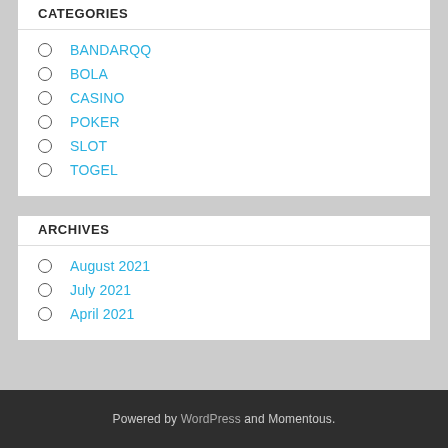CATEGORIES
BANDARQQ
BOLA
CASINO
POKER
SLOT
TOGEL
ARCHIVES
August 2021
July 2021
April 2021
Powered by WordPress and Momentous.